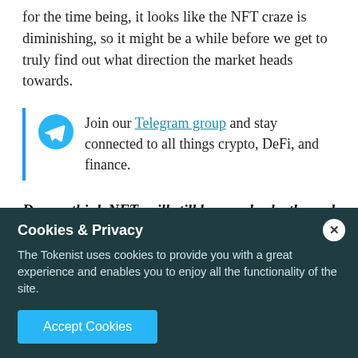for the time being, it looks like the NFT craze is diminishing, so it might be a while before we get to truly find out what direction the market heads towards.
Join our Telegram group and stay connected to all things crypto, DeFi, and finance.
Do you think NFTs will still be popular by the end of the year? Let us know in the comments!
Cookies & Privacy
The Tokenist uses cookies to provide you with a great experience and enables you to enjoy all the functionality of the site.
Accept Cookies